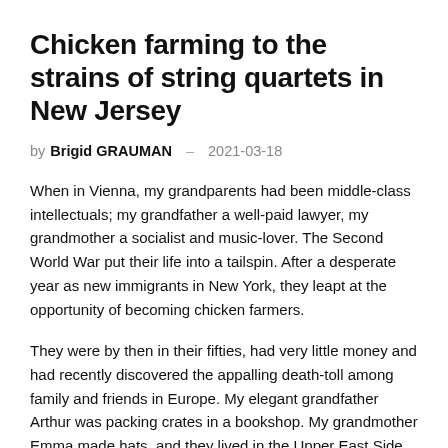Chicken farming to the strains of string quartets in New Jersey
by Brigid GRAUMAN – 2021-03-18
When in Vienna, my grandparents had been middle-class intellectuals; my grandfather a well-paid lawyer, my grandmother a socialist and music-lover. The Second World War put their life into a tailspin. After a desperate year as new immigrants in New York, they leapt at the opportunity of becoming chicken farmers.
They were by then in their fifties, had very little money and had recently discovered the appalling death-toll among family and friends in Europe. My elegant grandfather Arthur was packing crates in a bookshop. My grandmother Emma made hats, and they lived in the Upper East Side in a cockroach-infested flat.
Then they heard of the fund started by 19th-century German philanthropist and financier Maurice de Hirsch, conceived to help central European Jews resettle in